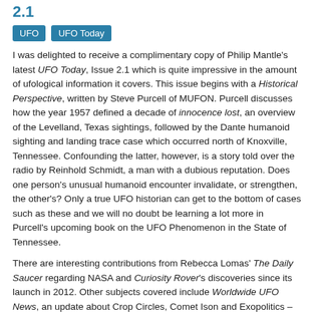2.1
UFO
UFO Today
I was delighted to receive a complimentary copy of Philip Mantle's latest UFO Today, Issue 2.1 which is quite impressive in the amount of ufological information it covers. This issue begins with a Historical Perspective, written by Steve Purcell of MUFON. Purcell discusses how the year 1957 defined a decade of innocence lost, an overview of the Levelland, Texas sightings, followed by the Dante humanoid sighting and landing trace case which occurred north of Knoxville, Tennessee. Confounding the latter, however, is a story told over the radio by Reinhold Schmidt, a man with a dubious reputation. Does one person's unusual humanoid encounter invalidate, or strengthen, the other's? Only a true UFO historian can get to the bottom of cases such as these and we will no doubt be learning a lot more in Purcell's upcoming book on the UFO Phenomenon in the State of Tennessee.
There are interesting contributions from Rebecca Lomas' The Daily Saucer regarding NASA and Curiosity Rover's discoveries since its launch in 2012. Other subjects covered include Worldwide UFO News, an update about Crop Circles, Comet Ison and Exopolitics – and we're just one quarter of the way through the latest issue of UFO Today which encompasses a staggering 82 pages. You won't find this much ufological